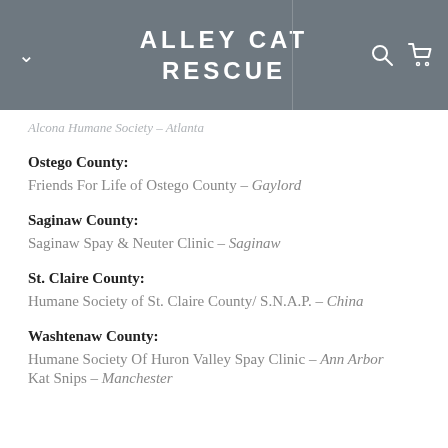ALLEY CAT RESCUE
Alcona Humane Society – Atlanta
Ostego County:
Friends For Life of Ostego County – Gaylord
Saginaw County:
Saginaw Spay & Neuter Clinic – Saginaw
St. Claire County:
Humane Society of St. Claire County/ S.N.A.P. – China
Washtenaw County:
Humane Society Of Huron Valley Spay Clinic – Ann Arbor
Kat Snips – Manchester